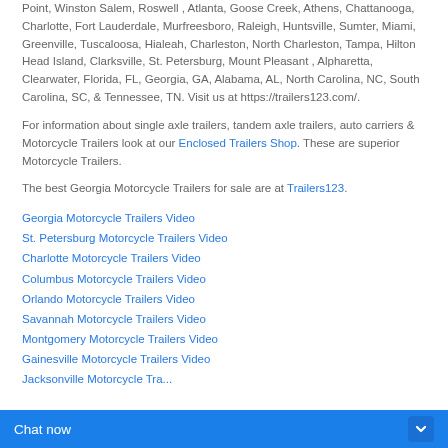Point, Winston Salem, Roswell , Atlanta, Goose Creek, Athens, Chattanooga, Charlotte, Fort Lauderdale, Murfreesboro, Raleigh, Huntsville, Sumter, Miami, Greenville, Tuscaloosa, Hialeah, Charleston, North Charleston, Tampa, Hilton Head Island, Clarksville, St. Petersburg, Mount Pleasant , Alpharetta, Clearwater, Florida, FL, Georgia, GA, Alabama, AL, North Carolina, NC, South Carolina, SC, & Tennessee, TN. Visit us at https://trailers123.com/.
For information about single axle trailers, tandem axle trailers, auto carriers & Motorcycle Trailers look at our Enclosed Trailers Shop. These are superior Motorcycle Trailers.
The best Georgia Motorcycle Trailers for sale are at Trailers123.
Georgia Motorcycle Trailers Video
St. Petersburg Motorcycle Trailers Video
Charlotte Motorcycle Trailers Video
Columbus Motorcycle Trailers Video
Orlando Motorcycle Trailers Video
Savannah Motorcycle Trailers Video
Montgomery Motorcycle Trailers Video
Gainesville Motorcycle Trailers Video
Jacksonville Motorcycle Trailers Video